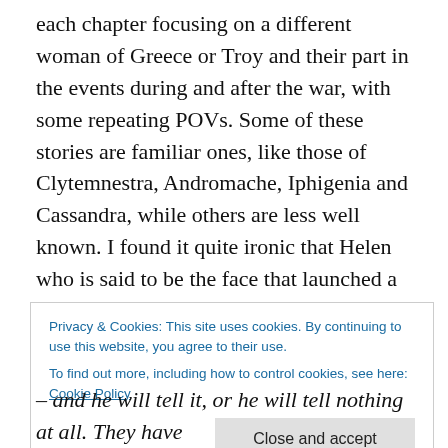each chapter focusing on a different woman of Greece or Troy and their part in the events during and after the war, with some repeating POVs. Some of these stories are familiar ones, like those of Clytemnestra, Andromache, Iphigenia and Cassandra, while others are less well known. I found it quite ironic that Helen who is said to be the face that launched a thousand ships, has perhaps the least page time, appearing only as part of the experiences of the Trojan women in the company of Queen Hecabe with only one major scene – but all in all a fitting choice I think.
Privacy & Cookies: This site uses cookies. By continuing to use this website, you agree to their use.
To find out more, including how to control cookies, see here: Cookie Policy
Close and accept
– and he will tell it, or he will tell nothing at all. They have